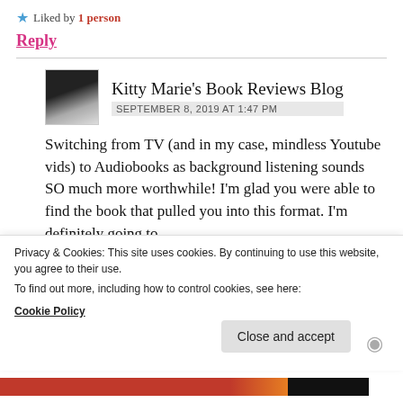★ Liked by 1 person
Reply
Kitty Marie's Book Reviews Blog
SEPTEMBER 8, 2019 AT 1:47 PM
Switching from TV (and in my case, mindless Youtube vids) to Audiobooks as background listening sounds SO much more worthwhile! I'm glad you were able to find the book that pulled you into this format. I'm definitely going to
Privacy & Cookies: This site uses cookies. By continuing to use this website, you agree to their use.
To find out more, including how to control cookies, see here:
Cookie Policy
Close and accept